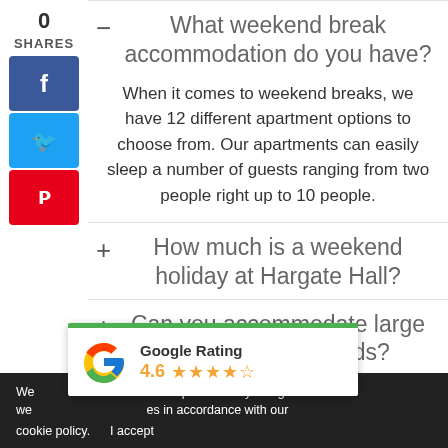What weekend break accommodation do you have?
When it comes to weekend breaks, we have 12 different apartment options to choose from. Our apartments can easily sleep a number of guests ranging from two people right up to 10 people.
How much is a weekend holiday at Hargate Hall?
Can you accommodate large parties on weekends?
[Figure (logo): Google Rating widget showing 4.6 stars with Google G logo]
We use cookies to improve your online experience. By using our website you agree to the use of cookies in accordance with our cookie policy.
I accept